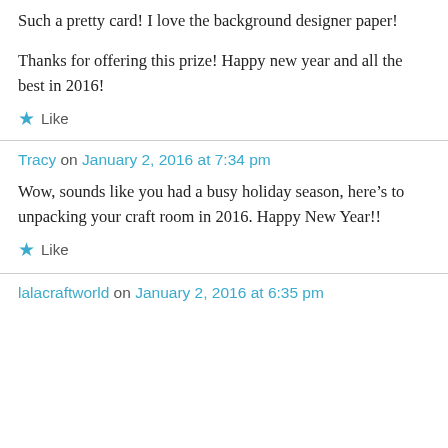Such a pretty card! I love the background designer paper!
Thanks for offering this prize! Happy new year and all the best in 2016!
★ Like
Tracy on January 2, 2016 at 7:34 pm
Wow, sounds like you had a busy holiday season, here's to unpacking your craft room in 2016. Happy New Year!!
★ Like
lalacraftworld on January 2, 2016 at 6:35 pm